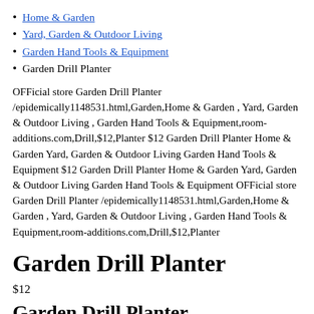Home & Garden
Yard, Garden & Outdoor Living
Garden Hand Tools & Equipment
Garden Drill Planter
OFFicial store Garden Drill Planter /epidemically1148531.html,Garden,Home & Garden , Yard, Garden & Outdoor Living , Garden Hand Tools & Equipment,room-additions.com,Drill,$12,Planter $12 Garden Drill Planter Home & Garden Yard, Garden & Outdoor Living Garden Hand Tools & Equipment $12 Garden Drill Planter Home & Garden Yard, Garden & Outdoor Living Garden Hand Tools & Equipment OFFicial store Garden Drill Planter /epidemically1148531.html,Garden,Home & Garden , Yard, Garden & Outdoor Living , Garden Hand Tools & Equipment,room-additions.com,Drill,$12,Planter
Garden Drill Planter
$12
Garden Drill Planter